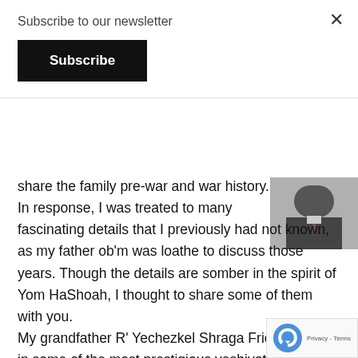Subscribe to our newsletter
Subscribe
share the family pre-war and war history. In response, I was treated to many fascinating details that I previously had not known, as my father ob'm was loathe to discuss those years. Though the details are somber in the spirit of Yom HaShoah, I thought to share some of them with you.
My grandfather R' Yechezkel Shraga Fried studied in some of the most prestigious yeshivot in Hungary, most notably the Yeshiva Levushei Mordechai in the city of Mod and the Yeshiva of Krastil. He was from a Chassidic family, stemming from Sanz, and was close with the renowned Shinove Rebbe. He studied throughout his life while raising a of two girls and four boys (one of them my father) with his
[Figure (photo): Portrait photo of a man in a suit and tie]
[Figure (logo): reCAPTCHA logo with Privacy and Terms text]